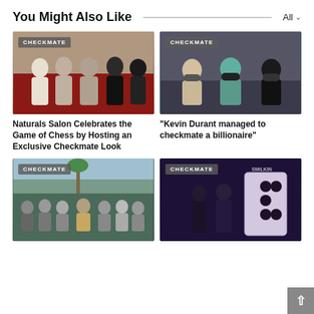You Might Also Like
[Figure (photo): Group of people at a formal event on red carpet, wearing formal dresses. CHECKMATE badge overlay.]
[Figure (photo): Three people wearing masks sitting together. CHECKMATE badge overlay.]
Naturals Salon Celebrates the Game of Chess by Hosting an Exclusive Checkmate Look
“Kevin Durant managed to checkmate a billionaire”
[Figure (photo): Large group of people posing outdoors with flags and palm trees. CHECKMATE badge overlay.]
[Figure (photo): Stage performance with large domino prop and performers under colored lights. CHECKMATE badge overlay.]